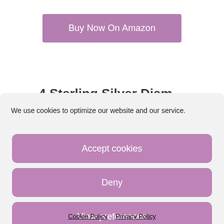[Figure (screenshot): A mauve/purple rounded rectangular button labeled 'Buy Now On Amazon' on a white background]
4 Sterling Silver Diamond Dazzli…
We use cookies to optimize our website and our service.
[Figure (screenshot): Purple rounded button labeled 'Accept cookies']
[Figure (screenshot): Purple rounded button labeled 'Deny']
[Figure (screenshot): Purple rounded button labeled 'View preferences']
Cookie Policy   Privacy Policy